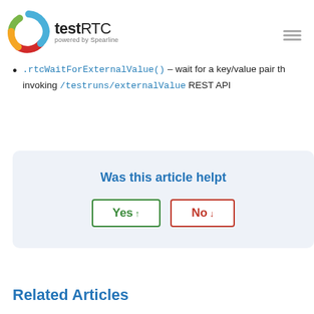[Figure (logo): testRTC powered by Spearline logo with colorful circular icon]
.rtcWaitForExternalValue() – wait for a key/value pair th... invoking /testruns/externalValue REST API
Was this article helpt...
Yes ↑   No ↓
Related Articles